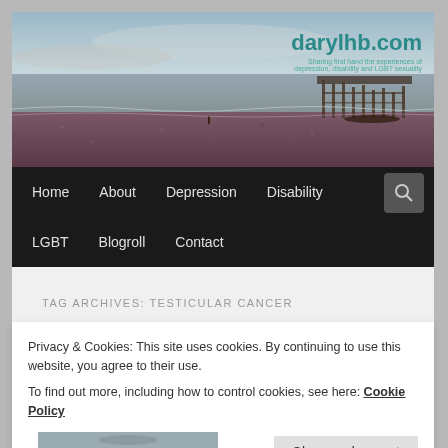[Figure (photo): Beach scene with pier ruins in background, pebble beach in foreground, overcast sky. darylhb.com website header image.]
darylhb.com
Sharing first hand the experiences of depression, disability and LGBT sexuality
Home   About   Depression   Disability   LGBT   Blogroll   Contact
TAG ARCHIVES: TESTICULAR CANCER
Privacy & Cookies: This site uses cookies. By continuing to use this website, you agree to their use.
To find out more, including how to control cookies, see here: Cookie Policy
Close and accept